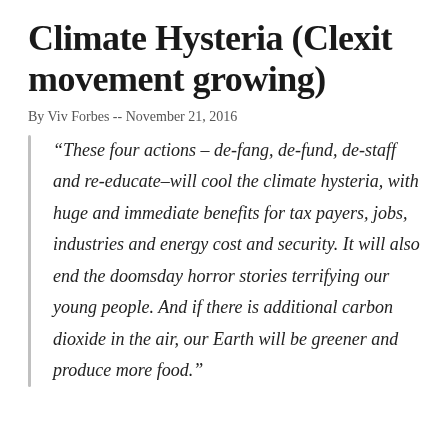Climate Hysteria (Clexit movement growing)
By Viv Forbes -- November 21, 2016
“These four actions – de-fang, de-fund, de-staff and re-educate–will cool the climate hysteria, with huge and immediate benefits for tax payers, jobs, industries and energy cost and security. It will also end the doomsday horror stories terrifying our young people. And if there is additional carbon dioxide in the air, our Earth will be greener and produce more food.”